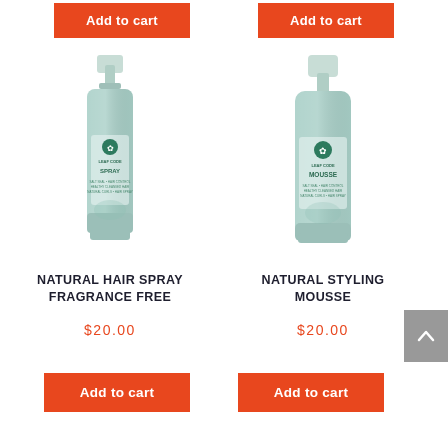[Figure (photo): Two orange 'Add to cart' buttons at the top of the page, partially visible]
[Figure (photo): Natural Hair Spray Fragrance Free product bottle - mint green spray bottle with brand logo and label]
NATURAL HAIR SPRAY FRAGRANCE FREE
$20.00
[Figure (photo): Natural Styling Mousse product bottle - mint green pump bottle with brand logo and label]
NATURAL STYLING MOUSSE
$20.00
[Figure (other): Two orange 'Add to cart' buttons at the bottom]
[Figure (other): Gray scroll-to-top button on the right side]